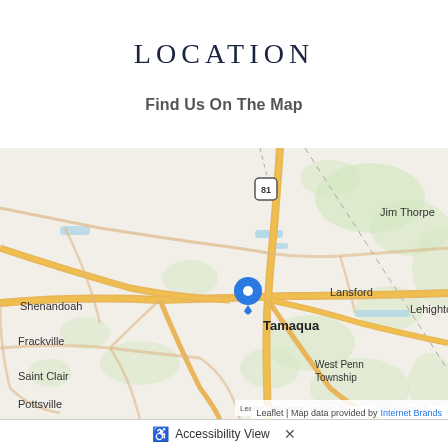LOCATION
Find Us On The Map
[Figure (map): Interactive map centered on Tamaqua, Pennsylvania showing surrounding areas including Shenandoah, Frackville, Saint Clair, Pottsville, Lansford, Jim Thorpe, Lehighton, and West Penn Township. A blue location pin marker is placed on Tamaqua. Roads including Route 81 are visible. Map credit: Leaflet, Map data provided by Internet Brands.]
Leaflet | Map data provided by Internet Brands
Accessibility View